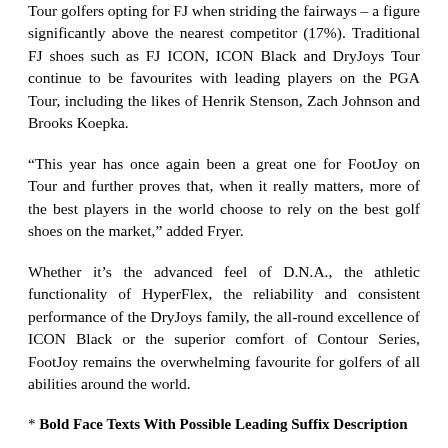Tour golfers opting for FJ when striding the fairways – a figure significantly above the nearest competitor (17%). Traditional FJ shoes such as FJ ICON, ICON Black and DryJoys Tour continue to be favourites with leading players on the PGA Tour, including the likes of Henrik Stenson, Zach Johnson and Brooks Koepka.
“This year has once again been a great one for FootJoy on Tour and further proves that, when it really matters, more of the best players in the world choose to rely on the best golf shoes on the market,” added Fryer.
Whether it’s the advanced feel of D.N.A., the athletic functionality of HyperFlex, the reliability and consistent performance of the DryJoys family, the all-round excellence of ICON Black or the superior comfort of Contour Series, FootJoy remains the overwhelming favourite for golfers of all abilities around the world.
* Bold Face Texts With Possible Leading Suffix Description